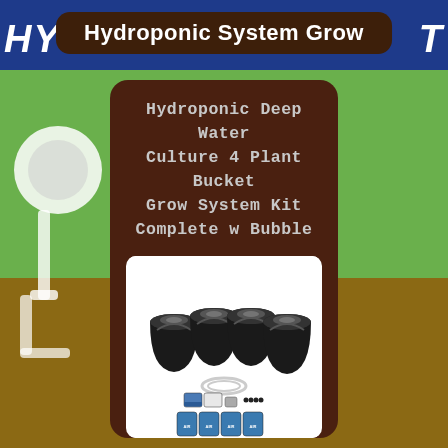Hydroponic System Grow
Hydroponic Deep Water Culture 4 Plant Bucket Grow System Kit Complete w Bubble
[Figure (photo): Product photo of a hydroponic deep water culture kit showing 4 black buckets with net pot lids, along with tubing, air pump accessories, and nutrient/pH solution packets arranged in front.]